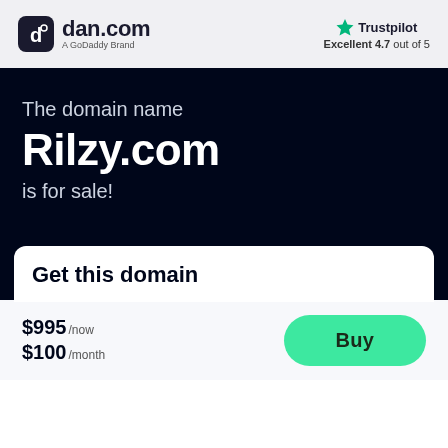[Figure (logo): dan.com logo with rounded square icon and text 'dan.com' with subtitle 'A GoDaddy Brand']
[Figure (logo): Trustpilot logo with green star and text 'Trustpilot', rating 'Excellent 4.7 out of 5']
The domain name Rilzy.com is for sale!
Get this domain
$995 /now $100 /month